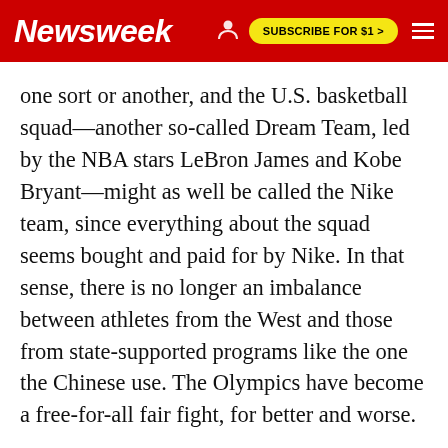Newsweek | SUBSCRIBE FOR $1 >
one sort or another, and the U.S. basketball squad—another so-called Dream Team, led by the NBA stars LeBron James and Kobe Bryant—might as well be called the Nike team, since everything about the squad seems bought and paid for by Nike. In that sense, there is no longer an imbalance between athletes from the West and those from state-supported programs like the one the Chinese use. The Olympics have become a free-for-all fair fight, for better and worse.